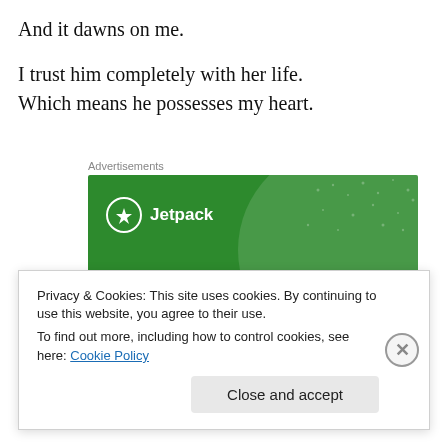And it dawns on me.
I trust him completely with her life.
Which means he possesses my heart.
Advertisements
[Figure (illustration): Jetpack advertisement banner with green background, circular design element, and text 'Like an undo button for your WordPress site']
Privacy & Cookies: This site uses cookies. By continuing to use this website, you agree to their use.
To find out more, including how to control cookies, see here: Cookie Policy